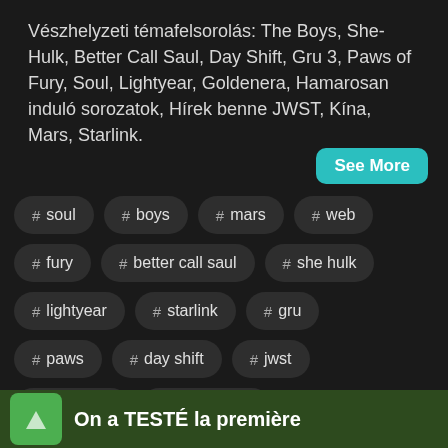Vészhelyzeti témafelsorolás: The Boys, She-Hulk, Better Call Saul, Day Shift, Gru 3, Paws of Fury, Soul, Lightyear, Goldenera, Hamarosan induló sorozatok, Hírek benne JWST, Kína, Mars, Starlink.
# soul
# boys
# mars
# web
# fury
# better call saul
# she hulk
# lightyear
# starlink
# gru
# paws
# day shift
# jwst
# spacebar
# hamarosan
On a TESTÉ la première